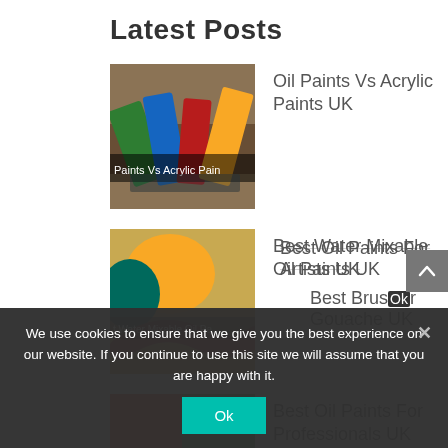Latest Posts
Oil Paints Vs Acrylic Paints UK
Best Water Mixable Oil Paints UK
Best Oil Paints For Professionals UK
Best Oil Paints For Artists UK
Best Brushes for Gouache UK
We use cookies to ensure that we give you the best experience on our website. If you continue to use this site we will assume that you are happy with it.